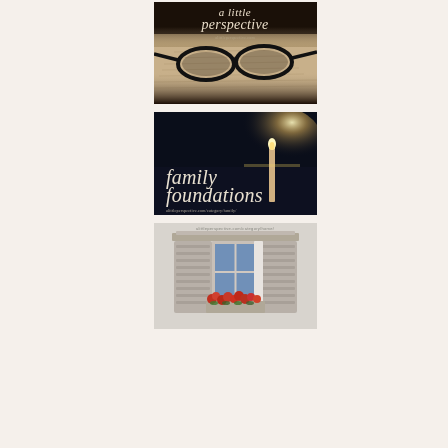[Figure (photo): Blog header image for 'a little perspective' showing glasses resting on an open book, with the blog title in italic serif font and URL alittleperspective.com]
[Figure (photo): Blog category image for 'family foundations' showing a lit candle against a dark night sky, with text 'family foundations' and URL alittleperspective.com/category/family/]
[Figure (photo): Image showing an open window with white shutters and a window box filled with red flowers]